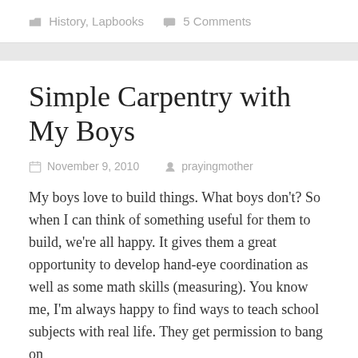History, Lapbooks   5 Comments
Simple Carpentry with My Boys
November 9, 2010   prayingmother
My boys love to build things. What boys don't? So when I can think of something useful for them to build, we're all happy. It gives them a great opportunity to develop hand-eye coordination as well as some math skills (measuring). You know me, I'm always happy to find ways to teach school subjects with real life. They get permission to bang on